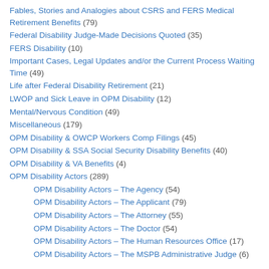Fables, Stories and Analogies about CSRS and FERS Medical Retirement Benefits (79)
Federal Disability Judge-Made Decisions Quoted (35)
FERS Disability (10)
Important Cases, Legal Updates and/or the Current Process Waiting Time (49)
Life after Federal Disability Retirement (21)
LWOP and Sick Leave in OPM Disability (12)
Mental/Nervous Condition (49)
Miscellaneous (179)
OPM Disability & OWCP Workers Comp Filings (45)
OPM Disability & SSA Social Security Disability Benefits (40)
OPM Disability & VA Benefits (4)
OPM Disability Actors (289)
OPM Disability Actors – The Agency (54)
OPM Disability Actors – The Applicant (79)
OPM Disability Actors – The Attorney (55)
OPM Disability Actors – The Doctor (54)
OPM Disability Actors – The Human Resources Office (17)
OPM Disability Actors – The MSPB Administrative Judge (6)